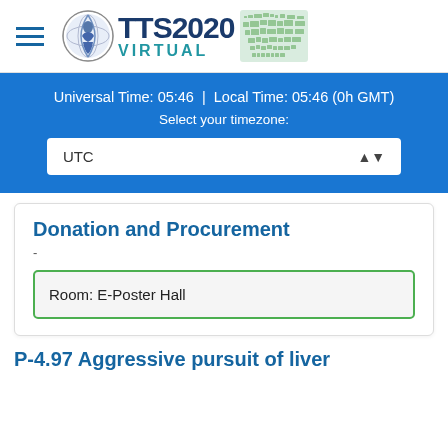[Figure (logo): TTS2020 Virtual conference logo with circular emblem and world map]
Universal Time: 05:46  |  Local Time: 05:46 (0h GMT)
Select your timezone:
UTC
Donation and Procurement
-
Room: E-Poster Hall
P-4.97 Aggressive pursuit of liver